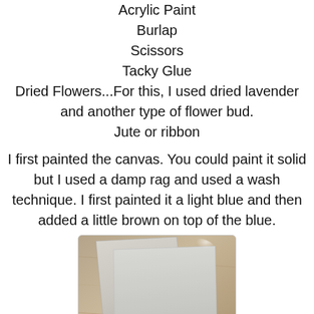Acrylic Paint
Burlap
Scissors
Tacky Glue
Dried Flowers...For this, I used dried lavender and another type of flower bud.
Jute or ribbon
I first painted the canvas. You could paint it solid but I used a damp rag and used a wash technique. I first painted it a light blue and then added a little brown on top of the blue.
[Figure (photo): Two painted canvases on a granite countertop, painted with a light blue-grey wash technique]